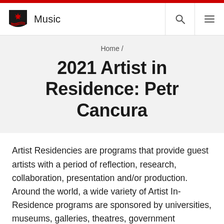Music
Home /
2021 Artist in Residence: Petr Cancura
Artist Residencies are programs that provide guest artists with a period of reflection, research, collaboration, presentation and/or production. Around the world, a wide variety of Artist In-Residence programs are sponsored by universities, museums, galleries, theatres, government agencies and festivals, where artists, curators, and all manner of creative individuals are invited to spend a period time away from their usual environment and obligations.